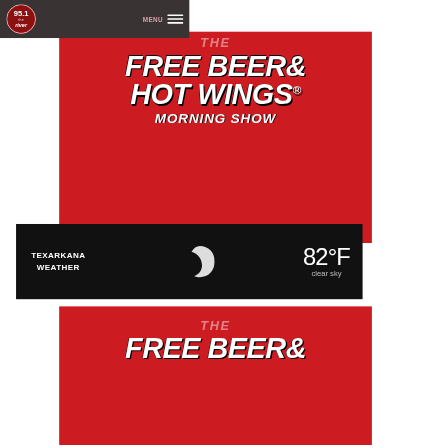[Figure (screenshot): 95.1 The River radio station logo — circular badge with text '95.1 the River' in red and white]
MENU
[Figure (illustration): The Free Beer & Hot Wings Morning Show logo on red background with white bold italic text]
TEXARKANA WEATHER
[Figure (illustration): Crescent moon weather icon in white on black background]
82°F
clear sky
[Figure (illustration): Partial second instance of The Free Beer & Hot Wings Morning Show logo on red background]